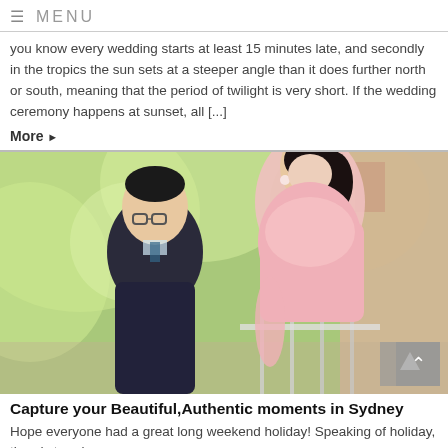MENU
you know every wedding starts at least 15 minutes late, and secondly in the tropics the sun sets at a steeper angle than it does further north or south, meaning that the period of twilight is very short. If the wedding ceremony happens at sunset, all [...]
More ▶
[Figure (photo): A couple sharing a romantic moment outdoors. A man in a dark suit and glasses looks up at a smiling woman in a pink dress who is leaning toward him.]
Capture your Beautiful,Authentic moments in Sydney
Hope everyone had a great long weekend holiday! Speaking of holiday, there's trend